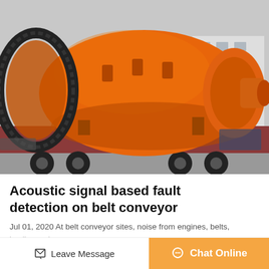[Figure (photo): Large orange industrial ball mill machine mounted on a flatbed truck, photographed outdoors with industrial buildings in the background.]
Acoustic signal based fault detection on belt conveyor
Jul 01, 2020 At belt conveyor sites, noise from engines, belts,
Leave Message
Chat Online